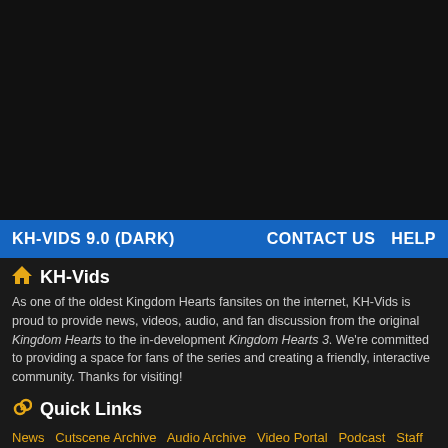[Figure (screenshot): Dark area representing a video or image content area, mostly black]
KH-VIDS 9.0 (DARK)    CONTACT US    HELP
KH-Vids
As one of the oldest Kingdom Hearts fansites on the internet, KH-Vids is proud to provide news, videos, audio, and fan discussion from the original Kingdom Hearts to the in-development Kingdom Hearts 3. We're committed to providing a space for fans of the series and creating a friendly, interactive community. Thanks for visiting!
Quick Links
News   Cutscene Archive   Audio Archive   Video Portal   Podcast   Staff Team   Affiliation
[Figure (infographic): Social media icons: YouTube (red), Twitter (blue), Facebook (blue), Tumblr (dark blue), RSS (orange)]